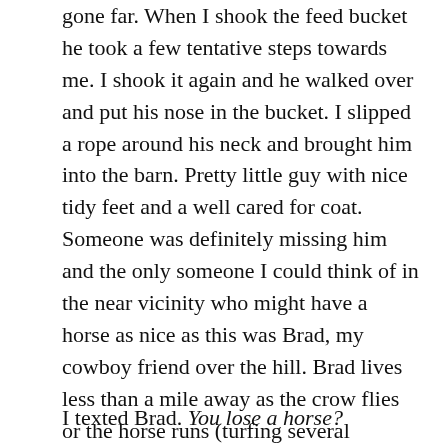gone far. When I shook the feed bucket he took a few tentative steps towards me. I shook it again and he walked over and put his nose in the bucket. I slipped a rope around his neck and brought him into the barn. Pretty little guy with nice tidy feet and a well cared for coat. Someone was definitely missing him and the only someone I could think of in the near vicinity who might have a horse as nice as this was Brad, my cowboy friend over the hill. Brad lives less than a mile away as the crow flies or the horse runs (turfing several neighbor's yards on his way I was sure). By road it's closer to two miles.
I texted Brad. You lose a horse?